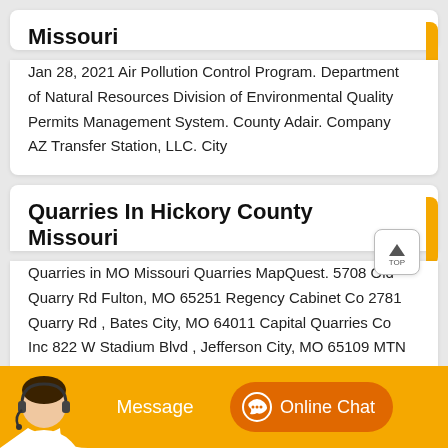Missouri
Jan 28, 2021 Air Pollution Control Program. Department of Natural Resources Division of Environmental Quality Permits Management System. County Adair. Company AZ Transfer Station, LLC. City
Quarries In Hickory County Missouri
Quarries in MO Missouri Quarries MapQuest. 5708 Old Quarry Rd Fulton, MO 65251 Regency Cabinet Co 2781 Quarry Rd , Bates City, MO 64011 Capital Quarries Co Inc 822 W Stadium Blvd , Jefferson City, MO 65109 MTN Grove Quarries 2504 Limestone Dr , Mountain Grove, MO 65711 Acme Brick Tile Stone. View Details Send Enquiry
[Figure (infographic): Bottom orange bar with customer service representative avatar, Message button, and Online Chat button with headset icon]